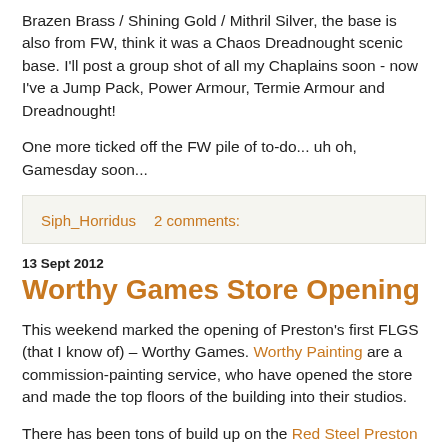Brazen Brass / Shining Gold / Mithril Silver, the base is also from FW, think it was a Chaos Dreadnought scenic base. I'll post a group shot of all my Chaplains soon - now I've a Jump Pack, Power Armour, Termie Armour and Dreadnought!
One more ticked off the FW pile of to-do... uh oh, Gamesday soon...
Siph_Horridus    2 comments:
13 Sept 2012
Worthy Games Store Opening
This weekend marked the opening of Preston's first FLGS (that I know of) – Worthy Games. Worthy Painting are a commission-painting service, who have opened the store and made the top floors of the building into their studios.
There has been tons of build up on the Red Steel Preston FBpage (Red Steel Preston is the local gaming club that has